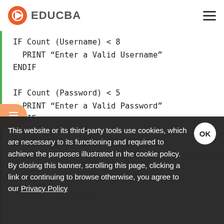EDUCBA
[Figure (screenshot): Code block showing pseudocode with IF/ENDIF statements for Username and Password validation]
[Figure (screenshot): Cookie consent banner overlay with OK button and Privacy Policy link]